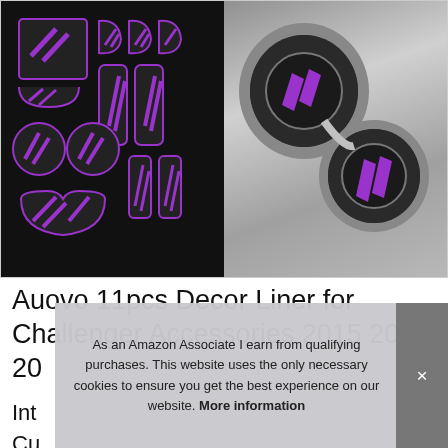[Figure (photo): Product photo of Auovo 11pcs car interior liner mats with purple accents on black rubber, shown as a set on left and installed in cup holders on right]
Auovo 11pcs Decor Liner for Challenger Accessories 2015 2016 20
Int
Cu
As an Amazon Associate I earn from qualifying purchases. This website uses the only necessary cookies to ensure you get the best experience on our website. More information